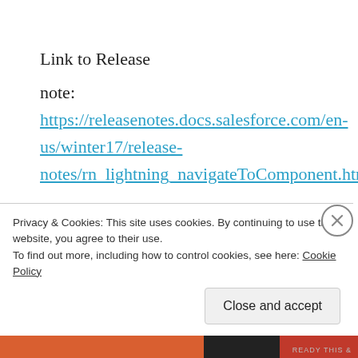Link to Release
note: https://releasenotes.docs.salesforce.com/en-us/winter17/release-notes/rn_lightning_navigateToComponent.htm
So, the sad part is that this event is still in the “beta” mode, but I am hopeful that Salesforce will make it generally available very soon. Let’s hope
Privacy & Cookies: This site uses cookies. By continuing to use this website, you agree to their use.
To find out more, including how to control cookies, see here: Cookie Policy
Close and accept